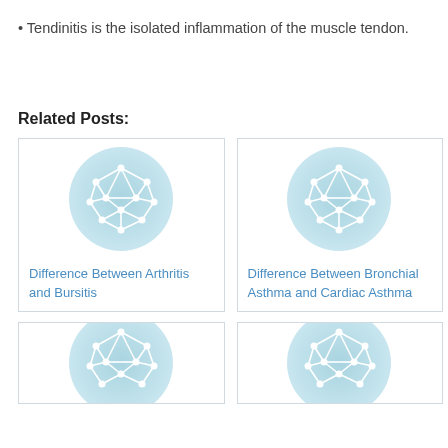Tendinitis is the isolated inflammation of the muscle tendon.
Related Posts:
[Figure (illustration): Network graph icon on light blue circle background — related post image for Difference Between Arthritis and Bursitis]
Difference Between Arthritis and Bursitis
[Figure (illustration): Network graph icon on light blue circle background — related post image for Difference Between Bronchial Asthma and Cardiac Asthma]
Difference Between Bronchial Asthma and Cardiac Asthma
[Figure (illustration): Network graph icon on light blue circle background — related post image (bottom left, partially visible)]
[Figure (illustration): Network graph icon on light blue circle background — related post image (bottom right, partially visible)]